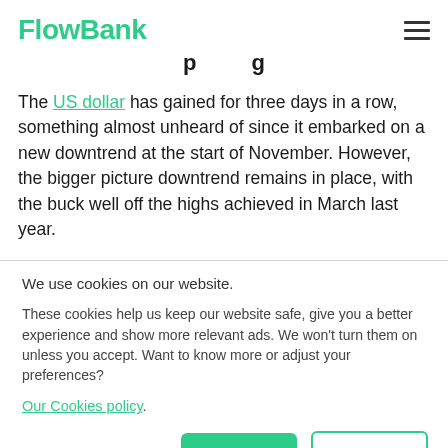FlowBank
The US dollar has gained for three days in a row, something almost unheard of since it embarked on a new downtrend at the start of November. However, the bigger picture downtrend remains in place, with the buck well off the highs achieved in March last year.
We use cookies on our website.
These cookies help us keep our website safe, give you a better experience and show more relevant ads. We won't turn them on unless you accept. Want to know more or adjust your preferences?
Our Cookies policy.
Manage preferences | Accept | Decline